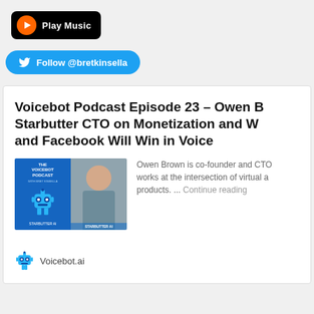[Figure (screenshot): Google Play Music button with orange music note icon on black rounded rectangle background]
[Figure (screenshot): Twitter Follow button with bird icon: Follow @bretkinsella]
Voicebot Podcast Episode 23 – Owen [Brown] Starbutter CTO on Monetization and W[hy Amazon] and Facebook Will Win in Voice
[Figure (photo): Composite image: The Voicebot Podcast logo on left (blue robot/microphone on white background), and a photo of a young man (Owen Brown) on the right]
Owen Brown is co-founder and CTO[...] works at the intersection of virtual a[ssistants and] products. ... Continue reading
Voicebot.ai